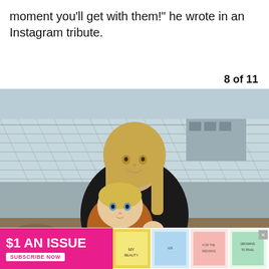moment you'll get with them!" he wrote in an Instagram tribute.
8 of 11
[Figure (photo): A man with long blonde hair wearing a dark sweater holds a toddler dressed in a rust/brown knit sweater. They are outdoors near a chain-link fence with dead leaves on the ground in the background.]
[Figure (infographic): Advertisement banner: '$1 AN ISSUE' in white text on pink/magenta background with 'SUBSCRIBE NOW' button, alongside magazine cover images. Close button (X) in top right.]